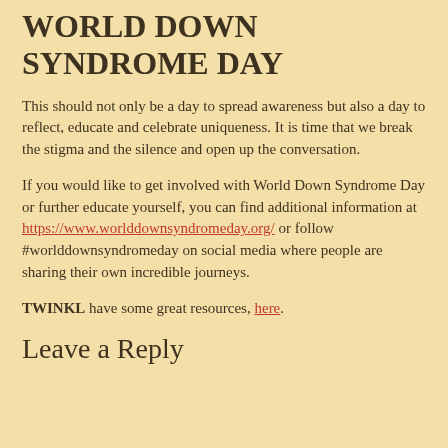WORLD DOWN SYNDROME DAY
This should not only be a day to spread awareness but also a day to reflect, educate and celebrate uniqueness. It is time that we break the stigma and the silence and open up the conversation.
If you would like to get involved with World Down Syndrome Day or further educate yourself, you can find additional information at https://www.worlddownsyndromeday.org/ or follow #worlddownsyndromeday on social media where people are sharing their own incredible journeys.
TWINKL have some great resources, here.
Leave a Reply